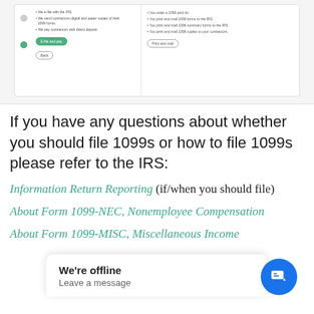[Figure (screenshot): Screenshot of a web application showing a two-column comparison UI for filing 1099s. Left side shows steps with green timeline dot, a green button and a Back button. Right side shows bullet points about printing and mailing, with a Print and mail button.]
If you have any questions about whether you should file 1099s or how to file 1099s please refer to the IRS:
Information Return Reporting (if/when you should file)
About Form 1099-NEC, Nonemployee Compensation
About Form 1099-MISC, Miscellaneous Income
[Figure (screenshot): Chat widget overlay showing 'We're offline - Leave a message' with a blue circular chat button icon on the bottom right.]